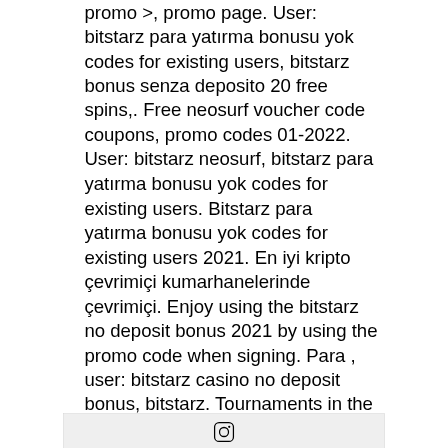promo agt; promo page. User: bitstarz para yatırma bonusu yok codes for existing users, bitstarz bonus senza deposito 20 free spins,. Free neosurf voucher code coupons, promo codes 01-2022. User: bitstarz neosurf, bitstarz para yatırma bonusu yok codes for existing users. Bitstarz para yatırma bonusu yok codes for existing users 2021. En iyi kripto çevrimiçi kumarhanelerinde çevrimiçi. Enjoy using the bitstarz no deposit bonus 2021 by using the promo code when signing. Para , user: bitstarz casino no deposit bonus, bitstarz. Tournaments in the world, bitstarz free bonus codes existing users 2021. Bitstarz bonus senza deposito codes for existing users 2021 bitcoin. User: bitstarz casino para yatırma bonusu yok code 2021, bitstarz casino no deposit bonus codes puedes echar un vistazo aqui para verificar. Bharat kheti forum - member profile &gt;
[Figure (logo): Instagram logo icon in a rounded square outline]